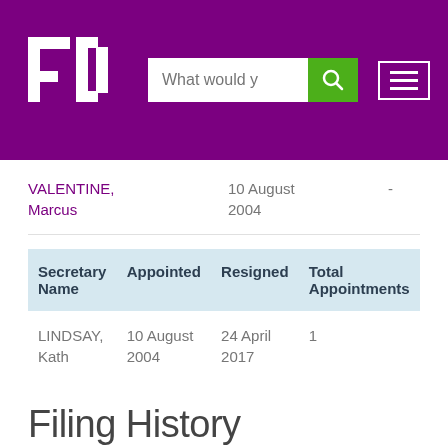[Figure (screenshot): Website header with purple background, FD logo, search bar with magnifying glass icon, and hamburger menu icon]
| Director Name | Appointed | Resigned | Total Appointments |
| --- | --- | --- | --- |
| VALENTINE, Marcus | 10 August 2004 | - | 1 |
| Secretary Name | Appointed | Resigned | Total Appointments |
| --- | --- | --- | --- |
| LINDSAY, Kath | 10 August 2004 | 24 April 2017 | 1 |
Filing History
| Document Type | Date |
| --- | --- |